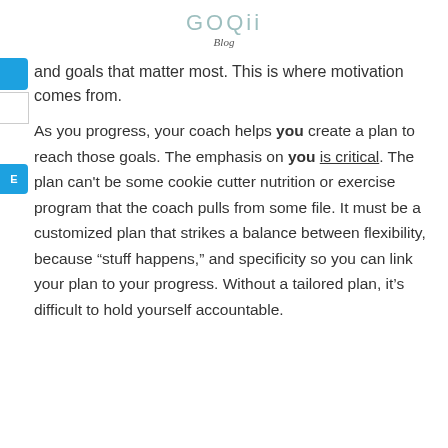GOQii
Blog
and goals that matter most. This is where motivation comes from.
As you progress, your coach helps you create a plan to reach those goals. The emphasis on you is critical. The plan can't be some cookie cutter nutrition or exercise program that the coach pulls from some file. It must be a customized plan that strikes a balance between flexibility, because “stuff happens,” and specificity so you can link your plan to your progress. Without a tailored plan, it’s difficult to hold yourself accountable.